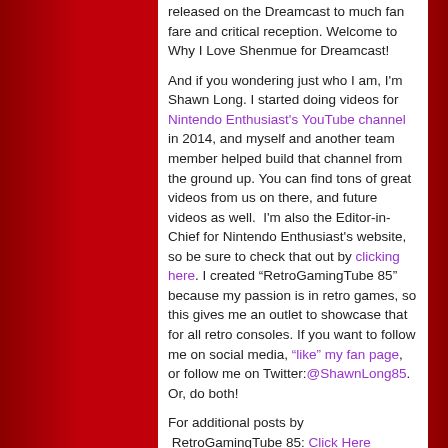released on the Dreamcast to much fan fare and critical reception. Welcome to Why I Love Shenmue for Dreamcast!
And if you wondering just who I am, I'm Shawn Long. I started doing videos for Nintendo Enthusiast's YouTube channel in 2014, and myself and another team member helped build that channel from the ground up. You can find tons of great videos from us on there, and future videos as well. I'm also the Editor-in-Chief for Nintendo Enthusiast's website, so be sure to check that out by clicking here. I created “RetroGamingTube 85” because my passion is in retro games, so this gives me an outlet to showcase that for all retro consoles. If you want to follow me on social media, “like” my fan page, or follow me on Twitter:@ShawnLong85. Or, do both!
For additional posts by  RetroGamingTube 85: Click Here
Join the Gamester81 forums: http://dev2017.gamester81.com/forum
Star Wars fan? Then check out our sister site: http://swnut77.com
This entry was posted in Game Reviews,